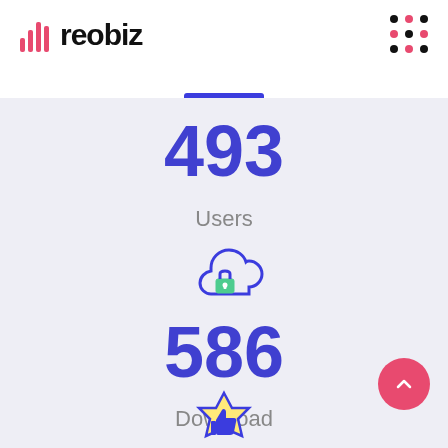[Figure (logo): Reobiz logo with bar chart icon and text 'reobiz']
493
Users
[Figure (illustration): Cloud with lock icon (secure cloud)]
586
Download
[Figure (illustration): Badge with thumbs up icon (partially visible at bottom)]